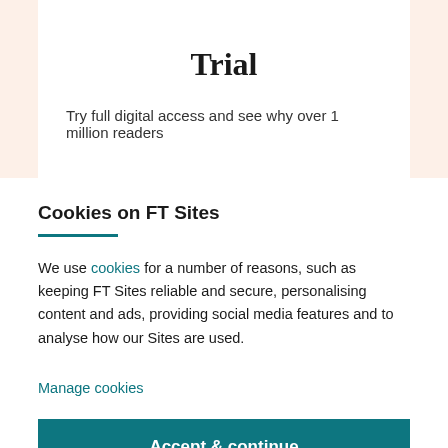Trial
Try full digital access and see why over 1 million readers
Cookies on FT Sites
We use cookies for a number of reasons, such as keeping FT Sites reliable and secure, personalising content and ads, providing social media features and to analyse how our Sites are used.
Manage cookies
Accept & continue